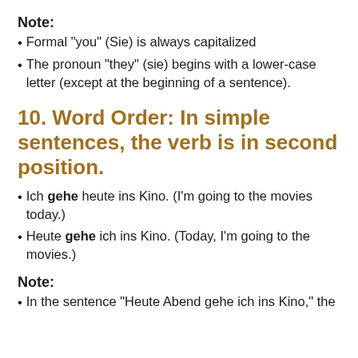Note:
Formal "you" (Sie) is always capitalized
The pronoun "they" (sie) begins with a lower-case letter (except at the beginning of a sentence).
10. Word Order: In simple sentences, the verb is in second position.
Ich gehe heute ins Kino. (I'm going to the movies today.)
Heute gehe ich ins Kino. (Today, I'm going to the movies.)
Note:
In the sentence "Heute Abend gehe ich ins Kino," the